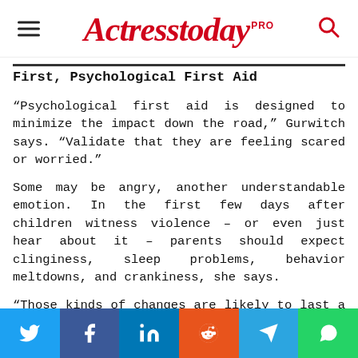Actresstoday PRO
First, Psychological First Aid
“Psychological first aid is designed to minimize the impact down the road,” Gurwitch says. “Validate that they are feeling scared or worried.”
Some may be angry, another understandable emotion. In the first few days after children witness violence – or even just hear about it – parents should expect clinginess, sleep problems, behavior meltdowns, and crankiness, she says.
“Those kinds of changes are likely to last a few weeks.” she says.
[Figure (infographic): Social media share buttons: Twitter (blue), Facebook (dark blue), LinkedIn (blue), Reddit (orange), Telegram (light blue), WhatsApp (green)]